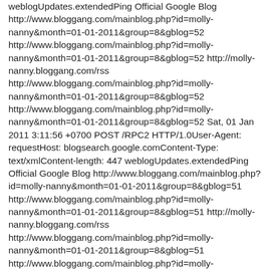weblogUpdates.extendedPing Official Google Blog http://www.bloggang.com/mainblog.php?id=molly-nanny&month=01-01-2011&group=8&gblog=52 http://www.bloggang.com/mainblog.php?id=molly-nanny&month=01-01-2011&group=8&gblog=52 http://molly-nanny.bloggang.com/rss http://www.bloggang.com/mainblog.php?id=molly-nanny&month=01-01-2011&group=8&gblog=52 http://www.bloggang.com/mainblog.php?id=molly-nanny&month=01-01-2011&group=8&gblog=52 Sat, 01 Jan 2011 3:11:56 +0700 POST /RPC2 HTTP/1.0User-Agent: requestHost: blogsearch.google.comContent-Type: text/xmlContent-length: 447 weblogUpdates.extendedPing Official Google Blog http://www.bloggang.com/mainblog.php?id=molly-nanny&month=01-01-2011&group=8&gblog=51 http://www.bloggang.com/mainblog.php?id=molly-nanny&month=01-01-2011&group=8&gblog=51 http://molly-nanny.bloggang.com/rss http://www.bloggang.com/mainblog.php?id=molly-nanny&month=01-01-2011&group=8&gblog=51 http://www.bloggang.com/mainblog.php?id=molly-nanny&month=01-01-2011&group=8&gblog=51 Sat, 01 Jan 2011 3:08:47 +0700 POST /RPC2 HTTP/1.0User-Agent: requestHost: blogsearch.google.comContent-Type: text/xmlContent-length: 447 weblogUpdates.extendedPing Official Google Blog http://www.bloggang.com/mainblog.php?id=molly-nanny&month=01-01-2011&group=8&gblog=50 http://www.bloggang.com/mainblog.php?id=molly-nanny&month=01-01-2011&group=8&gblog=50